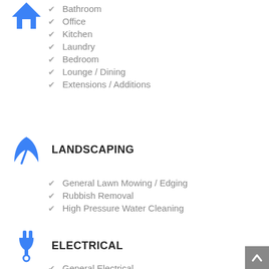[Figure (illustration): Blue house icon (home symbol)]
Bathroom
Office
Kitchen
Laundry
Bedroom
Lounge / Dining
Extensions / Additions
LANDSCAPING
[Figure (illustration): Blue leaf icon]
General Lawn Mowing / Edging
Rubbish Removal
High Pressure Water Cleaning
ELECTRICAL
[Figure (illustration): Blue electrical plug icon]
General Electrical